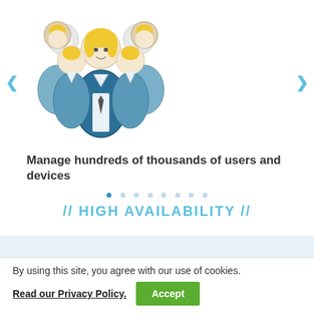[Figure (illustration): Group of people / users icon illustration with blue and yellow colors showing multiple figures]
Manage hundreds of thousands of users and devices
[Figure (infographic): Carousel navigation dots, first dot active (filled blue), rest light blue]
// HIGH AVAILABILITY //
[Figure (illustration): Large light blue forward slash decorative element]
WHETHER YOU USE MULTIPLE DEVICES IN AN
By using this site, you agree with our use of cookies.
Read our Privacy Policy.
Accept